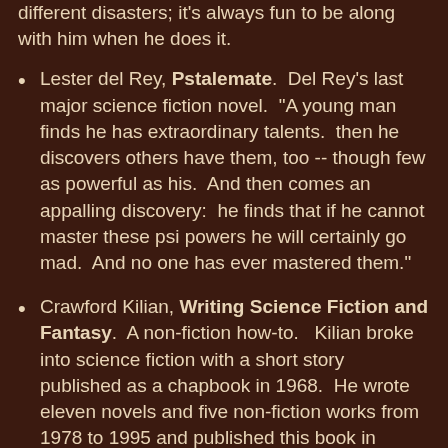different disasters; it's always fun to be along with him when he does it.
Lester del Rey, Pstalemate. Del Rey's last major science fiction novel. "A young man finds he has extraordinary talents. then he discovers others have them, too -- though few as powerful as his. And then comes an appalling discovery: he finds that if he cannot master these psi powers he will certainly go mad. And no one has ever mastered them."
Crawford Kilian, Writing Science Fiction and Fantasy. A non-fiction how-to. Kilian broke into science fiction with a short story published as a chapbook in 1968. He wrote eleven novels and five non-fiction works from 1978 to 1995 and published this book in 1998. since the he published two additional how-to books on writing. A retired college professor, he had published hundreds of articles on different subjects. My copy is the second edition and was supposed to have come with a CD-ROM but